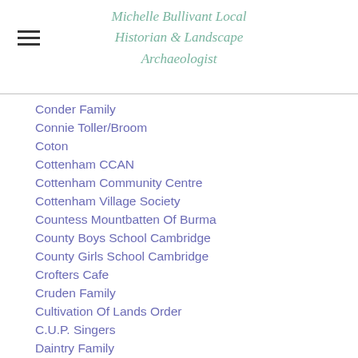Michelle Bullivant Local Historian & Landscape Archaeologist
Conder Family
Connie Toller/Broom
Coton
Cottenham CCAN
Cottenham Community Centre
Cottenham Village Society
Countess Mountbatten Of Burma
County Boys School Cambridge
County Girls School Cambridge
Crofters Cafe
Cruden Family
Cultivation Of Lands Order
C.U.P. Singers
Daintry Family
Dairy
Dalton Family
Dant